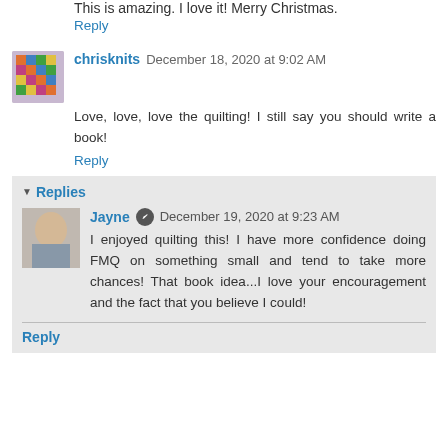This is amazing. I love it! Merry Christmas.
Reply
chrisknits December 18, 2020 at 9:02 AM
Love, love, love the quilting! I still say you should write a book!
Reply
Replies
Jayne December 19, 2020 at 9:23 AM
I enjoyed quilting this! I have more confidence doing FMQ on something small and tend to take more chances! That book idea...I love your encouragement and the fact that you believe I could!
Reply